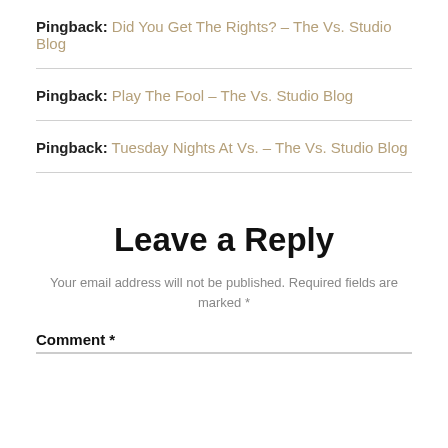Pingback: Did You Get The Rights? – The Vs. Studio Blog
Pingback: Play The Fool – The Vs. Studio Blog
Pingback: Tuesday Nights At Vs. – The Vs. Studio Blog
Leave a Reply
Your email address will not be published. Required fields are marked *
Comment *